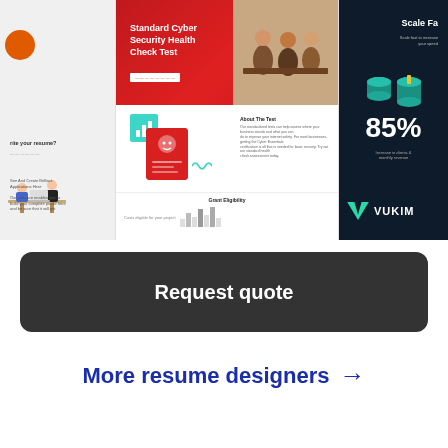[Figure (screenshot): Three website/app screenshots side by side: left shows a resume builder site with orange circle and person illustration; middle shows a Standard Cyber Security Health Check Test website with red hero banner and credential card graphic; right shows a dark-theme app with '85%' stat and teal database icons with VUKIME logo.]
Request quote
More resume designers →